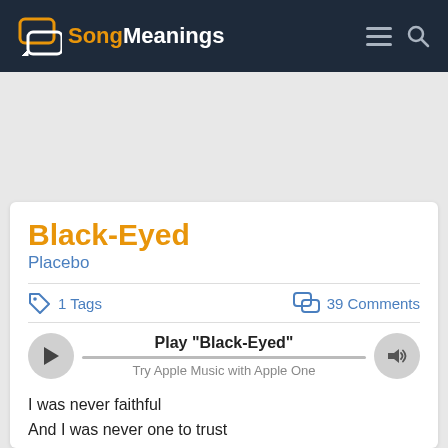SongMeanings
Black-Eyed
Placebo
1 Tags    39 Comments
Play "Black-Eyed"
Try Apple Music with Apple One
I was never faithful
And I was never one to trust
Borderline and skitzo
And guaranteed to cause a fuss
I was never loyal